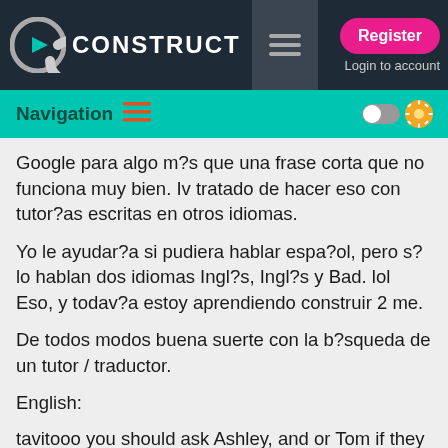CONSTRUCT | Register | Login to account
Navigation
Google para algo m?s que una frase corta que no funciona muy bien. Iv tratado de hacer eso con tutor?as escritas en otros idiomas.
Yo le ayudar?a si pudiera hablar espa?ol, pero s?lo hablan dos idiomas Ingl?s, Ingl?s y Bad. lol Eso, y todav?a estoy aprendiendo construir 2 me.
De todos modos buena suerte con la b?squeda de un tutor / traductor.
English:
tavitooo you should ask Ashley, and or Tom if they could have the Construct 2 manual translated into